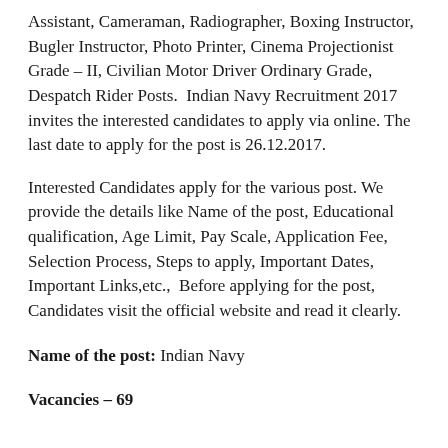Assistant, Cameraman, Radiographer, Boxing Instructor, Bugler Instructor, Photo Printer, Cinema Projectionist Grade – II, Civilian Motor Driver Ordinary Grade, Despatch Rider Posts. Indian Navy Recruitment 2017 invites the interested candidates to apply via online. The last date to apply for the post is 26.12.2017.
Interested Candidates apply for the various post. We provide the details like Name of the post, Educational qualification, Age Limit, Pay Scale, Application Fee, Selection Process, Steps to apply, Important Dates, Important Links,etc.,  Before applying for the post, Candidates visit the official website and read it clearly.
Name of the post: Indian Navy
Vacancies – 69